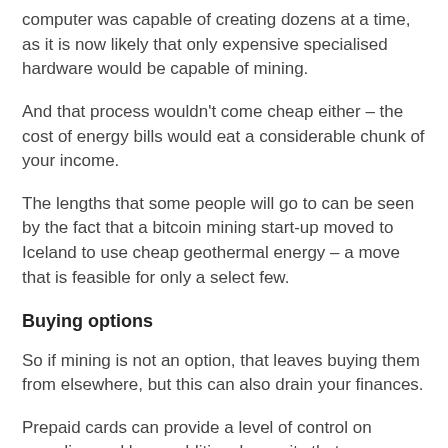computer was capable of creating dozens at a time, as it is now likely that only expensive specialised hardware would be capable of mining.
And that process wouldn't come cheap either – the cost of energy bills would eat a considerable chunk of your income.
The lengths that some people will go to can be seen by the fact that a bitcoin mining start-up moved to Iceland to use cheap geothermal energy – a move that is feasible for only a select few.
Buying options
So if mining is not an option, that leaves buying them from elsewhere, but this can also drain your finances.
Prepaid cards can provide a level of control on spending and have additional security that can